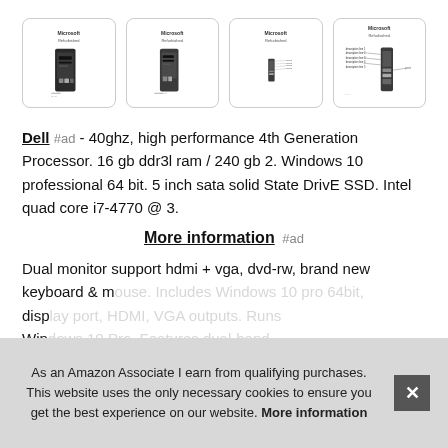[Figure (other): Row of four product thumbnail images showing Dell desktop tower computers from different angles, each in a rounded rectangle card.]
Dell #ad - 40ghz, high performance 4th Generation Processor. 16 gb ddr3l ram / 240 gb 2. Windows 10 professional 64 bit. 5 inch sata solid State DrivE SSD. Intel quad core i7-4770 @ 3.
More information #ad
Dual monitor support hdmi + vga, dvd-rw, brand new keyboard & m... disp... Win... wire...
As an Amazon Associate I earn from qualifying purchases. This website uses the only necessary cookies to ensure you get the best experience on our website. More information